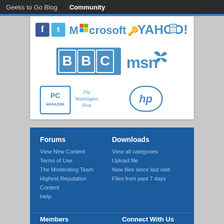Geeks to Go Blog | Community
[Figure (logo): Collection of brand logos: Facebook, Twitter, Microsoft, Yahoo, BBC, MSN, PC Magazine, The Washington Post, HP]
Forums
View New Content
Terms of Use
The Moderating Team
Highest Reputation
Content
Help
Downloads
View all categories
Upload file
New files since last visit
Files from past 7 days
Members
Connect With Us